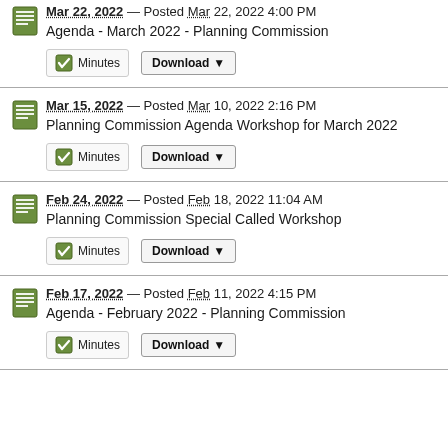Mar 22, 2022 — Posted Mar 22, 2022 4:00 PM Agenda - March 2022 - Planning Commission
Mar 15, 2022 — Posted Mar 10, 2022 2:16 PM Planning Commission Agenda Workshop for March 2022
Feb 24, 2022 — Posted Feb 18, 2022 11:04 AM Planning Commission Special Called Workshop
Feb 17, 2022 — Posted Feb 11, 2022 4:15 PM Agenda - February 2022 - Planning Commission